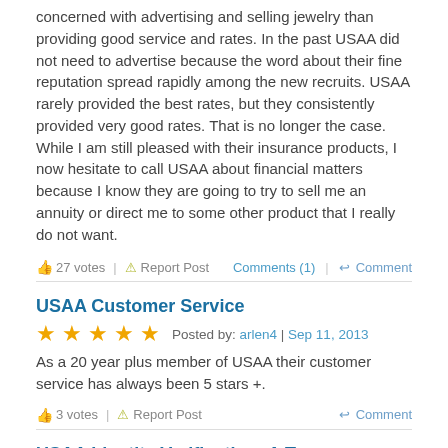concerned with advertising and selling jewelry than providing good service and rates. In the past USAA did not need to advertise because the word about their fine reputation spread rapidly among the new recruits. USAA rarely provided the best rates, but they consistently provided very good rates. That is no longer the case. While I am still pleased with their insurance products, I now hesitate to call USAA about financial matters because I know they are going to try to sell me an annuity or direct me to some other product that I really do not want.
27 votes | Report Post | Comments (1) | Comment
USAA Customer Service
★★★★★ Posted by: arlen4 | Sep 11, 2013
As a 20 year plus member of USAA their customer service has always been 5 stars +.
3 votes | Report Post | Comment
USAA Identity Verification- A Trap
★☆☆☆☆ Posted by: zebra | Jun 29, 2013